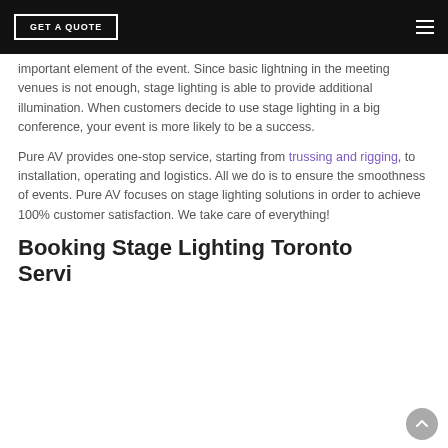GET A QUOTE
important element of the event. Since basic lightning in the meeting venues is not enough, stage lighting is able to provide additional illumination. When customers decide to use stage lighting in a big conference, your event is more likely to be a success.
Pure AV provides one-stop service, starting from trussing and rigging, to installation, operating and logistics. All we do is to ensure the smoothness of events. Pure AV focuses on stage lighting solutions in order to achieve 100% customer satisfaction. We take care of everything!
Booking Stage Lighting Toronto Service